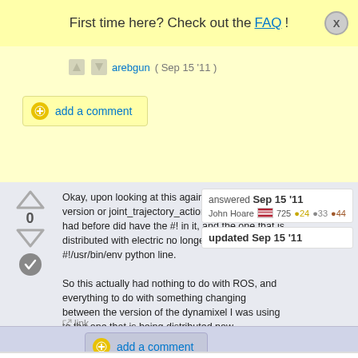First time here? Check out the FAQ!
arebgun ( Sep 15 11 )
add a comment
Okay, upon looking at this again, it looks like the version or joint_trajectory_action_controller.py I had before did have the #! in it, and the one that is distributed with electric no longer has the #!/usr/bin/env python line.

So this actually had nothing to do with ROS, and everything to do with something changing between the version of the dynamixel I was using to the one that is being distributed now.
answered Sep 15 '11
John Hoare 725 ●24 ●33 ●44
updated Sep 15 '11
link
add a comment
I don't recall changing anything in
answered Sep 15 '11